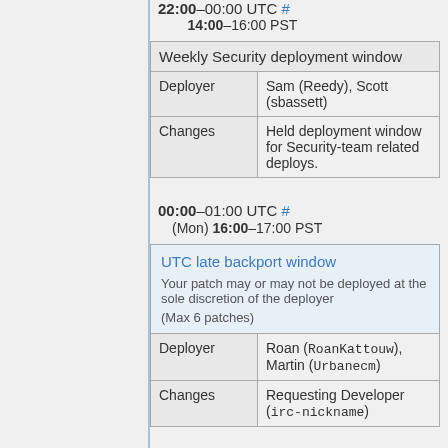22:00–00:00 UTC # 14:00–16:00 PST
| Weekly Security deployment window |
| --- |
| Deployer | Sam (Reedy), Scott (sbassett) |
| Changes | Held deployment window for Security-team related deploys. |
00:00–01:00 UTC # (Mon) 16:00–17:00 PST
| UTC late backport window | Your patch may or may not be deployed at the sole discretion of the deployer (Max 6 patches) |
| --- | --- |
| Deployer | Roan (RoanKattouw), Martin (Urbanecm) |
| Changes | Requesting Developer (irc-nickname) |